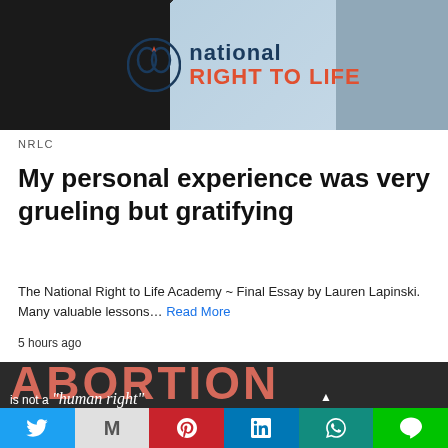[Figure (photo): Photo of people holding a National Right to Life banner/logo sign]
NRLC
My personal experience was very grueling but gratifying
The National Right to Life Academy ~ Final Essay by Lauren Lapinski. Many valuable lessons… Read More
5 hours ago
[Figure (photo): Image with text: ABORTION is not a "human right" when another]
[Figure (infographic): Social share bar with Twitter, Gmail/M, Pinterest, LinkedIn, WhatsApp, Line buttons]